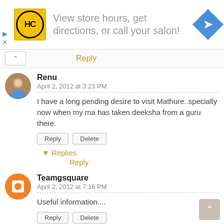[Figure (screenshot): Advertisement banner with HC logo, text 'View store hours, get directions, or call your salon!', and a blue diamond navigation icon]
Reply
Renu
April 2, 2012 at 3:23 PM
I have a long pending desire to visit Mathure..specially now when my ma has taken deeksha from a guru there.
Reply  Delete
▼ Replies
Reply
Teamgsquare
April 2, 2012 at 7:16 PM
Useful information....
Reply  Delete
▼ Replies
Reply